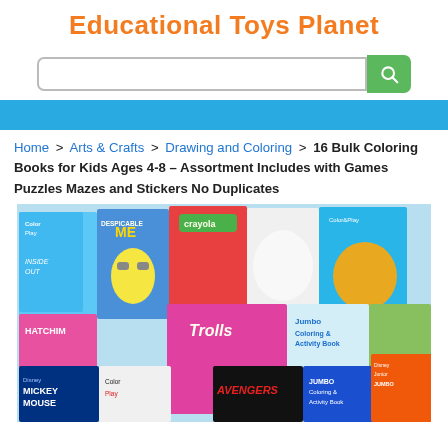Educational Toys Planet
[Figure (screenshot): Search bar with green search button]
[Figure (other): Blue navigation bar]
Home > Arts & Crafts > Drawing and Coloring > 16 Bulk Coloring Books for Kids Ages 4-8 – Assortment Includes with Games Puzzles Mazes and Stickers No Duplicates
[Figure (photo): Pile of 16 assorted coloring books for kids including Despicable Me, Ice Age, Trolls, Avengers, Mickey Mouse, Paw Patrol, Lion Guard, Crayola, Jumbo Coloring and Activity books and more.]